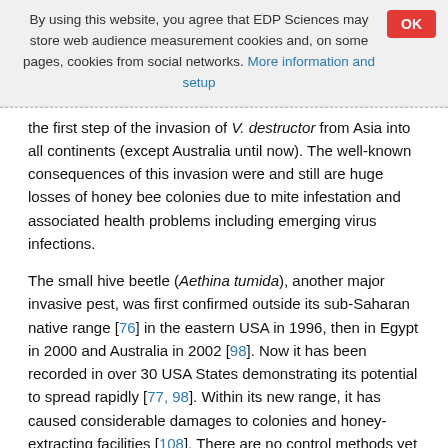By using this website, you agree that EDP Sciences may store web audience measurement cookies and, on some pages, cookies from social networks. More information and setup
the first step of the invasion of V. destructor from Asia into all continents (except Australia until now). The well-known consequences of this invasion were and still are huge losses of honey bee colonies due to mite infestation and associated health problems including emerging virus infections.
The small hive beetle (Aethina tumida), another major invasive pest, was first confirmed outside its sub-Saharan native range [76] in the eastern USA in 1996, then in Egypt in 2000 and Australia in 2002 [98]. Now it has been recorded in over 30 USA States demonstrating its potential to spread rapidly [77, 98]. Within its new range, it has caused considerable damages to colonies and honey-extracting facilities [108]. There are no control methods yet available